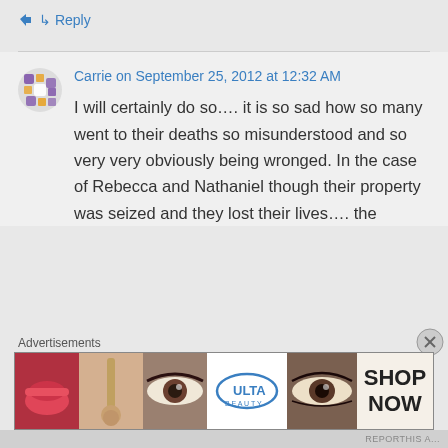↳ Reply
Carrie on September 25, 2012 at 12:32 AM
I will certainly do so…. it is so sad how so many went to their deaths so misunderstood and so very very obviously being wronged. In the case of Rebecca and Nathaniel though their property was seized and they lost their lives…. the
Advertisements
[Figure (photo): ULTA Beauty advertisement banner with makeup imagery and 'SHOP NOW' text]